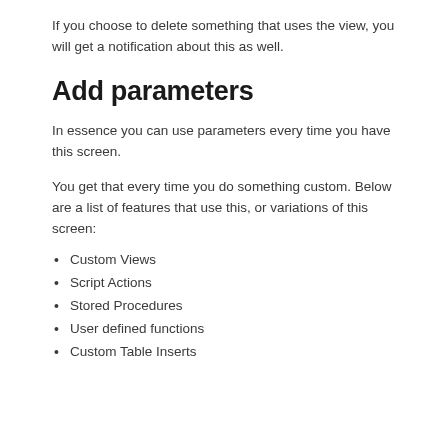If you choose to delete something that uses the view, you will get a notification about this as well.
Add parameters
In essence you can use parameters every time you have this screen.
You get that every time you do something custom. Below are a list of features that use this, or variations of this screen:
Custom Views
Script Actions
Stored Procedures
User defined functions
Custom Table Inserts